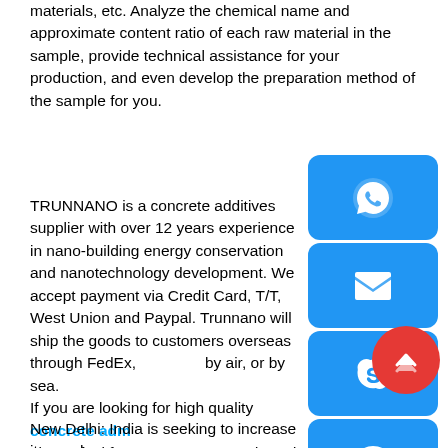materials, etc. Analyze the chemical name and approximate content ratio of each raw material in the sample, provide technical assistance for your production, and even develop the preparation method of the sample for you.
TRUNNANO is a concrete additives supplier with over 12 years experience in nano-building energy conservation and nanotechnology development. We accept payment via Credit Card, T/T, West Union and Paypal. Trunnano will ship the goods to customers overseas through FedEx, DHL, by air, or by sea.
If you are looking for high quality concrete admixtures, please feel free to contact us and send an inquiry. email: sales@cabr-concrete.com
New Delhi: India is seeking to increase its purcha
[Figure (infographic): Blue social media icon buttons panel on the right side: WhatsApp icon, Email/Envelope icon, Skype icon, Chat/message icon. A red circular back-to-top button with upward chevron overlapping the Skype button.]